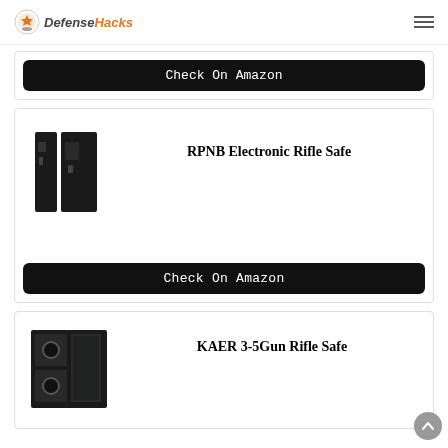DefenseHacks
Check On Amazon
[Figure (photo): Two black RPNB electronic rifle safes side by side]
RPNB Electronic Rifle Safe
Check On Amazon
[Figure (photo): KAER 3-5 Gun Rifle Safe product image showing front and interior]
KAER 3-5Gun Rifle Safe